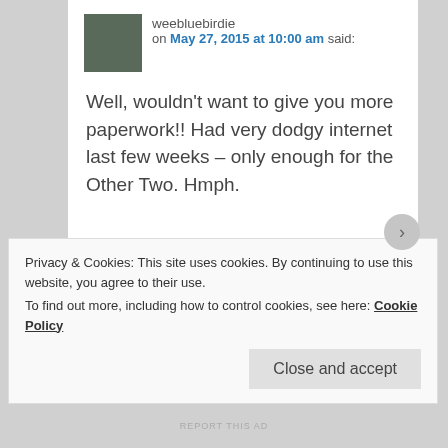weebluebirdie on May 27, 2015 at 10:00 am said:
Well, wouldn't want to give you more paperwork!! Had very dodgy internet last few weeks – only enough for the Other Two. Hmph.
tendernessontheblock on May 27, 2015 at 10:15
Privacy & Cookies: This site uses cookies. By continuing to use this website, you agree to their use. To find out more, including how to control cookies, see here: Cookie Policy
Close and accept